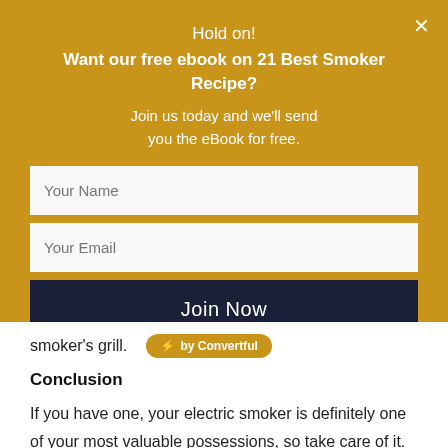Hold on! Want our free ebook on 21 Best Smoker Recipe?
Join us today and we'll send you the eBook for free.
[Figure (screenshot): Email signup form with Your Name and Your Email input fields and a dark navy Join Now button]
smoker's grill.
Conclusion
If you have one, your electric smoker is definitely one of your most valuable possessions, so take care of it.